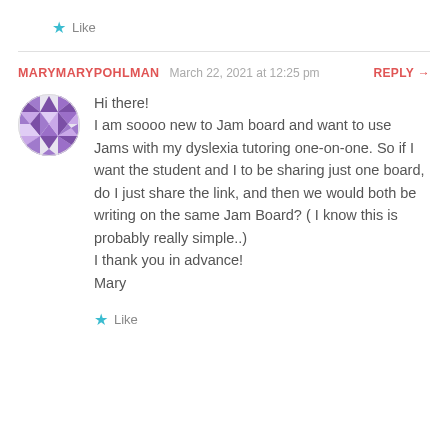Like
MARYMARYPOHLMAN   March 22, 2021 at 12:25 pm   REPLY →
[Figure (illustration): Circular avatar with purple geometric/mosaic pattern]
Hi there!
I am soooo new to Jam board and want to use Jams with my dyslexia tutoring one-on-one. So if I want the student and I to be sharing just one board, do I just share the link, and then we would both be writing on the same Jam Board? ( I know this is probably really simple..)
I thank you in advance!
Mary
Like